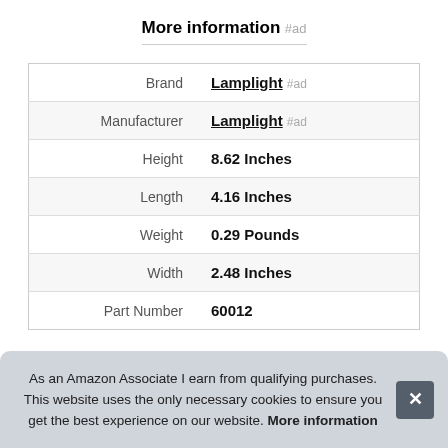More information #ad
| Brand | Lamplight #ad |
| Manufacturer | Lamplight #ad |
| Height | 8.62 Inches |
| Length | 4.16 Inches |
| Weight | 0.29 Pounds |
| Width | 2.48 Inches |
| Part Number | 60012 |
As an Amazon Associate I earn from qualifying purchases. This website uses the only necessary cookies to ensure you get the best experience on our website. More information